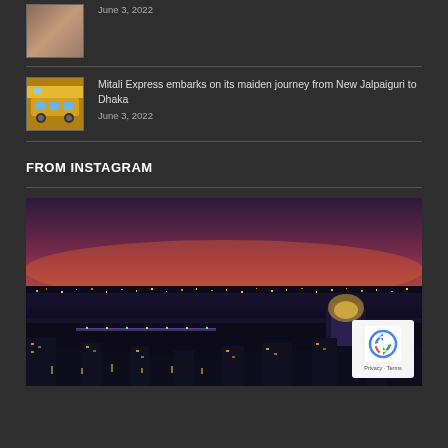[Figure (photo): Small thumbnail of textile/fabric article]
June 3, 2022
[Figure (photo): Small thumbnail of Mitali Express train]
Mitali Express embarks on its maiden journey from New Jalpaiguri to Dhaka
June 3, 2022
FROM INSTAGRAM
[Figure (photo): Night aerial cityscape photo showing a city at dusk with purple/pink sky, city lights reflecting on water, bridges and illuminated buildings visible. reCAPTCHA badge overlay in bottom right corner.]